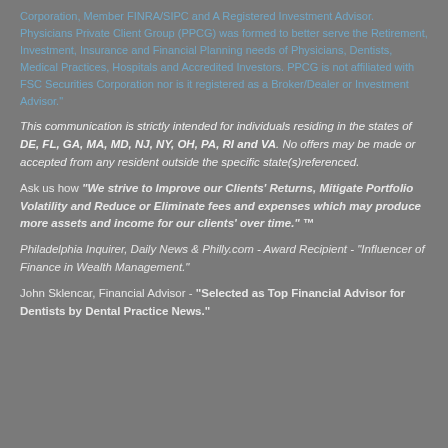Corporation, Member FINRA/SIPC and A Registered Investment Advisor. Physicians Private Client Group (PPCG) was formed to better serve the Retirement, Investment, Insurance and Financial Planning needs of Physicians, Dentists, Medical Practices, Hospitals and Accredited Investors. PPCG is not affiliated with FSC Securities Corporation nor is it registered as a Broker/Dealer or Investment Advisor.
This communication is strictly intended for individuals residing in the states of DE, FL, GA, MA, MD, NJ, NY, OH, PA, RI and VA. No offers may be made or accepted from any resident outside the specific state(s)referenced.
Ask us how "We strive to Improve our Clients' Returns, Mitigate Portfolio Volatility and Reduce or Eliminate fees and expenses which may produce more assets and income for our clients' over time." ™
Philadelphia Inquirer, Daily News & Philly.com - Award Recipient - "Influencer of Finance in Wealth Management."
John Sklencar, Financial Advisor - "Selected as Top Financial Advisor for Dentists by Dental Practice News."